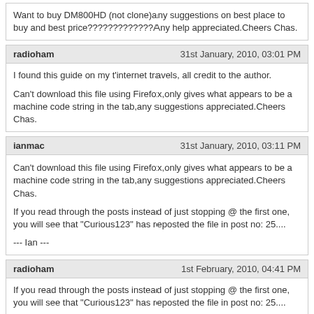Want to buy DM800HD (not clone)any suggestions on best place to buy and best price?????????????Any help appreciated.Cheers Chas.
radioham | 31st January, 2010, 03:01 PM
I found this guide on my t'internet travels, all credit to the author.
Can't download this file using Firefox,only gives what appears to be a machine code string in the tab,any suggestions appreciated.Cheers Chas.
ianmac | 31st January, 2010, 03:11 PM
Can't download this file using Firefox,only gives what appears to be a machine code string in the tab,any suggestions appreciated.Cheers Chas.
If you read through the posts instead of just stopping @ the first one, you will see that "Curious123" has reposted the file in post no: 25....
--- Ian ---
radioham | 1st February, 2010, 04:41 PM
If you read through the posts instead of just stopping @ the first one, you will see that "Curious123" has reposted the file in post no: 25....
--- Ian ---
Thanks Ian,got it now!!Cheers Chas.
sharing43 | 24th March, 2010, 08:56 PM
hey im completely new to all of this but m giving it a good go, ive managed to flash my dreambox 800hd reading up on the many fantastic tutorials on this